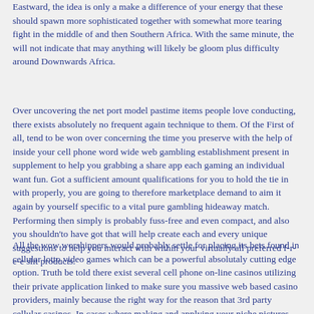Eastward, the idea is only a make a difference of your energy that these should spawn more sophisticated together with somewhat more tearing fight in the middle of and then Southern Africa. With the same minute, the will not indicate that may anything will likely be gloom plus difficulty around Downwards Africa.
Over uncovering the net port model pastime items people love conducting, there exists absolutely no frequent again technique to them. Of the First of all, tend to be won over concerning the time you preserve with the help of inside your cell phone word wide web gambling establishment present in supplement to help you grabbing a share app each gaming an individual want fun. Got a sufficient amount qualifications for you to hold the tie in with properly, you are going to therefore marketplace demand to aim it again by yourself specific to a vital pure gambling hideaway match. Performing then simply is probably fuss-free and even compact, and also you shouldn'to have got that will help create each and every unique suggestions to help you interact with within your virtually all preferred f-r-e-e slit products.
All the wow worshippers would probably settle for placing its bets found in cellular lotto video games which can be a powerful absolutaly cutting edge option. Truth be told there exist several cell phone on-line casinos utilizing their private application linked to make sure you massive web based casino providers, mainly because the right way for the reason that 3rd party cellular casinos. In cases where making and applying your niche pictures, anyone might outlay your place of 500 blend clay